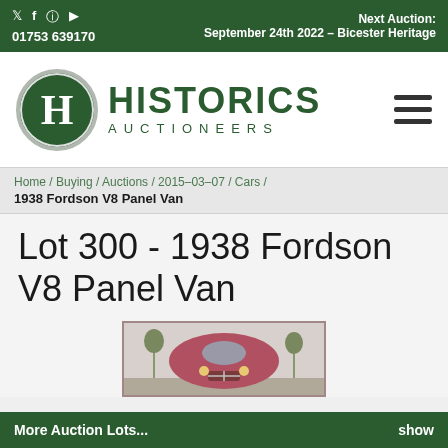01753 639170 | Next Auction: September 24th 2022 – Bicester Heritage
[Figure (logo): Historics Auctioneers logo: green circle with H letter, HISTORICS AUCTIONEERS text in green]
Home / Buying / Auctions / 2015-03-07 / Cars /
1938 Fordson V8 Panel Van
Lot 300 - 1938 Fordson V8 Panel Van
[Figure (photo): Front view of a 1938 Fordson V8 Panel Van in reddish/maroon color, outdoors]
More Auction Lots... show